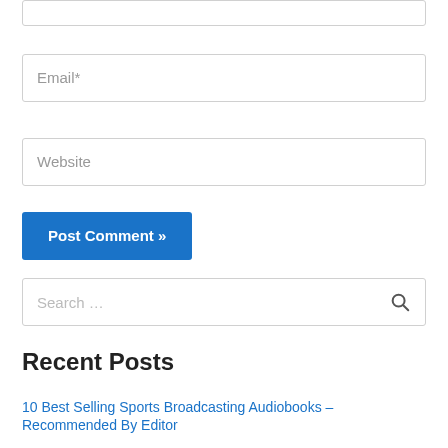Email*
Website
Post Comment »
Search …
Recent Posts
10 Best Selling Sports Broadcasting Audiobooks – Recommended By Editor